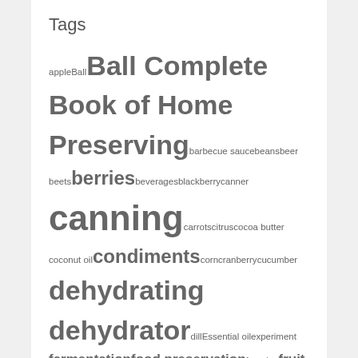Tags
apple Ball Ball Complete Book of Home Preserving barbecue sauce beans beer beets berries beverages blackberry canner canning carrots citrus cocoa butter coconut oil condiments corn cranberry cucumber dehydrating dehydrator dill Essential oil experiment fermentation food preservation freezing fruit fruit leather garden gardening giveaway home brewing jam jelly jerky lemon lemon juice liquid pectin low temperature pasteurization marmalade master food preserver NESCO onion orange OSU Extension Service pectin pepper peppers